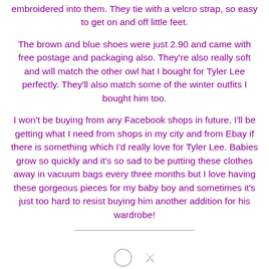embroidered into them. They tie with a velcro strap, so easy to get on and off little feet.
The brown and blue shoes were just 2.90 and came with free postage and packaging also. They're also really soft and will match the other owl hat I bought for Tyler Lee perfectly. They'll also match some of the winter outfits I bought him too.
I won't be buying from any Facebook shops in future, I'll be getting what I need from shops in my city and from Ebay if there is something which I'd really love for Tyler Lee. Babies grow so quickly and it's so sad to be putting these clothes away in vacuum bags every three months but I love having these gorgeous pieces for my baby boy and sometimes it's just too hard to resist buying him another addition for his wardrobe!